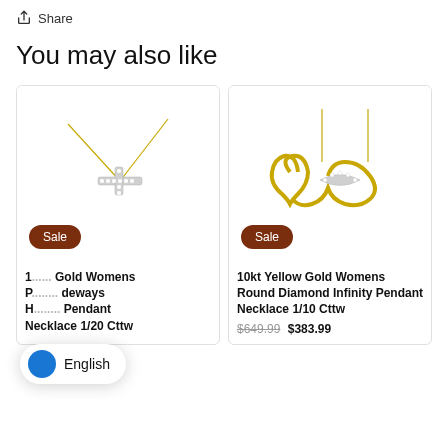Share
You may also like
[Figure (photo): Yellow gold sideways cross diamond pendant necklace on white background with Sale badge]
1... y Gold Womens P... deways H... Pendant Necklace 1/20 Cttw
[Figure (photo): 10kt Yellow Gold Womens Round Diamond Infinity Pendant Necklace on white background with Sale badge]
10kt Yellow Gold Womens Round Diamond Infinity Pendant Necklace 1/10 Cttw
$649.99  $383.99